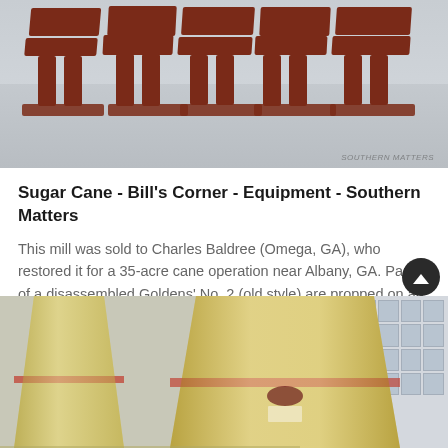[Figure (photo): Photograph of red-brown agricultural mill equipment arranged on a concrete surface, viewed from above/side angle.]
Sugar Cane - Bill's Corner - Equipment - Southern Matters
This mill was sold to Charles Baldree (Omega, GA), who restored it for a 35-acre cane operation near Albany, GA. Parts of a disassembled Goldens' No. 2 (old style) are propped on an assembled mill of the same type (Slide 10)
GET PRICE
[Figure (photo): Photograph of large yellow conical industrial crusher/mill equipment with red stripe, with a building displaying Chinese text in the background.]